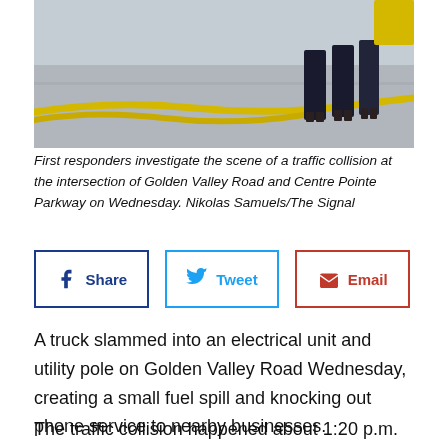[Figure (photo): First responders at the scene of a traffic collision, with a yellow hose on the ground and people in dark uniforms visible]
First responders investigate the scene of a traffic collision at the intersection of Golden Valley Road and Centre Pointe Parkway on Wednesday. Nikolas Samuels/The Signal
[Figure (infographic): Social media share buttons: Share (Facebook), Tweet (Twitter), Email]
A truck slammed into an electrical unit and utility pole on Golden Valley Road Wednesday, creating a small fuel spill and knocking out phone service to nearby businesses.
The traffic collision happened about 1:20 p.m. Wednesday on Golden Valley at Centre Pointe